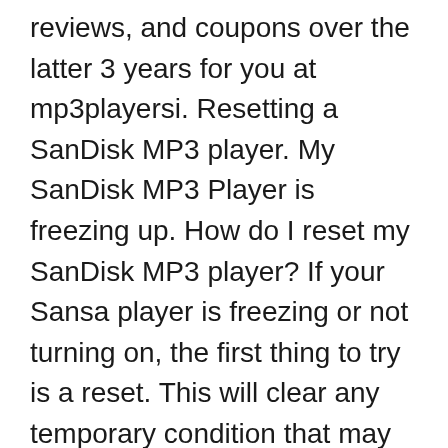reviews, and coupons over the latter 3 years for you at mp3playersi. Resetting a SanDisk MP3 player. My SanDisk MP3 Player is freezing up. How do I reset my SanDisk MP3 player? If your Sansa player is freezing or not turning on, the first thing to try is a reset. This will clear any temporary condition that may cause the player to freeze or not shut off completely. Resetting a Clip Sport Go 1. Press and hold the Power/Center Select button for approximately 20
Best for Running: SanDisk Clip Sport Plus at Amazon, "The clip on the back of the player is a convenient way to make sure it doesnвЂ™t fall off your body while exercising." Best for Lossless Audio: Berennis Bluetooth MP3 Player at